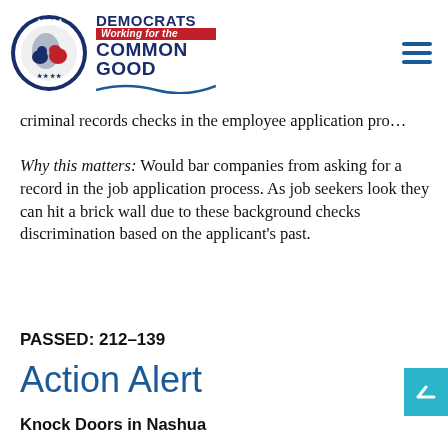[Figure (logo): Cheshire County Democrats logo — circular blue badge with donkey and elephant, text 'DEMOCRATS Working for the COMMON GOOD' with red bar and blue swoosh]
criminal records checks in the employee application pro…
Why this matters: Would bar companies from asking for a record in the job application process. As job seekers look they can hit a brick wall due to these background checks discrimination based on the applicant's past.
PASSED: 212–139
Action Alert
Knock Doors in Nashua